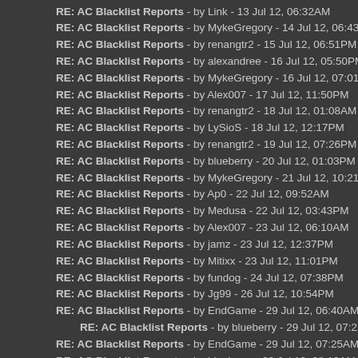RE: AC Blacklist Reports - by Link - 13 Jul 12, 06:32AM
RE: AC Blacklist Reports - by MykeGregory - 14 Jul 12, 06:43PM
RE: AC Blacklist Reports - by renangtr2 - 15 Jul 12, 06:51PM
RE: AC Blacklist Reports - by alexandree - 16 Jul 12, 05:50PM
RE: AC Blacklist Reports - by MykeGregory - 16 Jul 12, 07:01PM
RE: AC Blacklist Reports - by Alex007 - 17 Jul 12, 11:50PM
RE: AC Blacklist Reports - by renangtr2 - 18 Jul 12, 01:08AM
RE: AC Blacklist Reports - by LySioS - 18 Jul 12, 12:17PM
RE: AC Blacklist Reports - by renangtr2 - 19 Jul 12, 07:26PM
RE: AC Blacklist Reports - by blueberry - 20 Jul 12, 01:03PM
RE: AC Blacklist Reports - by MykeGregory - 21 Jul 12, 10:21PM
RE: AC Blacklist Reports - by Ap0 - 22 Jul 12, 09:52AM
RE: AC Blacklist Reports - by Medusa - 22 Jul 12, 03:43PM
RE: AC Blacklist Reports - by Alex007 - 23 Jul 12, 06:10AM
RE: AC Blacklist Reports - by jamz - 23 Jul 12, 12:37PM
RE: AC Blacklist Reports - by Mitixx - 23 Jul 12, 11:01PM
RE: AC Blacklist Reports - by fundog - 24 Jul 12, 07:38PM
RE: AC Blacklist Reports - by Jg99 - 26 Jul 12, 10:54PM
RE: AC Blacklist Reports - by EndGame - 29 Jul 12, 06:40AM
RE: AC Blacklist Reports - by blueberry - 29 Jul 12, 07:22AM (indented)
RE: AC Blacklist Reports - by EndGame - 29 Jul 12, 07:25AM
RE: AC Blacklist Reports - by blueberry - 29 Jul 12, 08:13AM
RE: AC Blacklist Reports - by renangtr2 - 01 Aug 12, 05:13PM
RE: AC Blacklist Reports - by MykeGregory - 03 Aug 12, 05:35PM
RE: AC Blacklist Reports - by sniperz - 04 Aug 12, 10:36PM